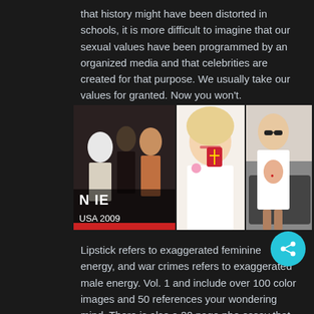that history might have been distorted in schools, it is more difficult to imagine that our sexual values have been programmed by an organized media and that celebrities are created for that purpose. We usually take our values for granted. Now you won't.
[Figure (photo): Composite of three celebrity photos: left shows two women at a formal event with text overlay 'N...IE USA 2009', center shows a smiling blonde woman in white holding a red item, right shows a woman in a white graphic t-shirt with sunglasses walking outdoors.]
Lipstick refers to exaggerated feminine energy, and war crimes refers to exaggerated male energy.  Vol. 1 and include over 100 color images and 50 references your wondering mind. There is also a 20 page pho essay that introduces the larger Series, the Table of Contents for Lipstick and War Crimes: Vol. 2,  and a bio